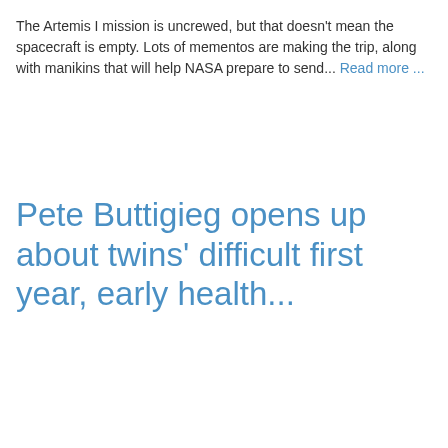The Artemis I mission is uncrewed, but that doesn't mean the spacecraft is empty. Lots of mementos are making the trip, along with manikins that will help NASA prepare to send... Read more ...
Pete Buttigieg opens up about twins' difficult first year, early health...